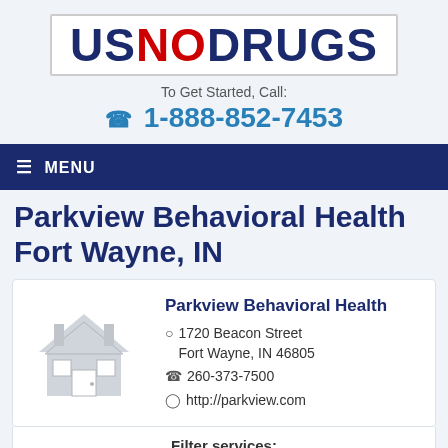[Figure (logo): USNODRUGS logo — 'US' and 'DRUGS' in dark navy, 'NO' in red, all bold large text in a white bordered box]
To Get Started, Call:
1-888-852-7453
≡ MENU
Parkview Behavioral Health Fort Wayne, IN
[Figure (illustration): Gray house/building icon]
Parkview Behavioral Health
1720 Beacon Street Fort Wayne, IN 46805
260-373-7500
http://parkview.com
Filter services: